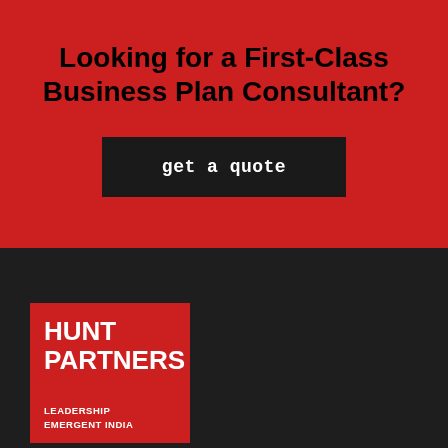Looking for a First-Class Business Plan Consultant?
get a quote
[Figure (logo): Hunt Partners logo — red square with white bold text reading HUNT PARTNERS on top, and LEADERSHIP EMERGENT INDIA in smaller text below]